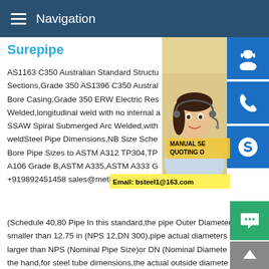Navigation
Surepipe
AS1163 C350 Australian Standard Structural Sections,Grade 350 AS1396 C350 Australian Bore Casing,Grade 350 ERW Electric Resistance Welded,longitudinal weld with no internal arc SSAW Spiral Submerged Arc Welded,with weldSteel Pipe Dimensions,NB Size Schedule Bore Pipe Sizes to ASTM A312 TP304,TP A106 Grade B,ASTM A335,ASTM A333 G +919892451458 sales@metlineSteel Pipe (Schedule 40,80 Pipe In this standard,the pipe Outer Diameter smaller than 12.75 in (NPS 12,DN 300),pipe actual diameters is larger than NPS (Nominal Pipe Size)or DN (Nominal Diameter the hand,for steel tube dimensions,the actual outside diameter same with pipe number for all sizes.
[Figure (photo): Customer service representative woman with headset]
[Figure (infographic): Blue icon buttons for customer service, phone, and Skype; overlay text MANUAL SE... QUOTING O...; Email: bsteel1@163.com]